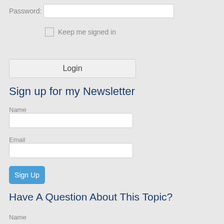Password:
Keep me signed in
Login
Sign up for my Newsletter
Name
Email
Sign Up
Have A Question About This Topic?
Name